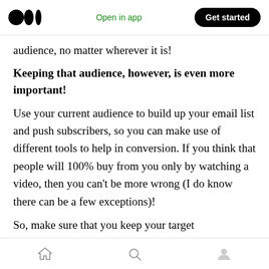Open in app | Get started
audience, no matter wherever it is!
Keeping that audience, however, is even more important!
Use your current audience to build up your email list and push subscribers, so you can make use of different tools to help in conversion. If you think that people will 100% buy from you only by watching a video, then you can't be more wrong (I do know there can be a few exceptions)!
So, make sure that you keep your target
Home | Search | Profile